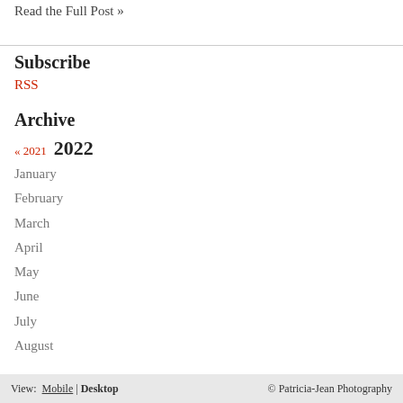Read the Full Post »
Subscribe
RSS
Archive
« 2021  2022
January
February
March
April
May
June
July
August
View: Mobile | Desktop   © Patricia-Jean Photography